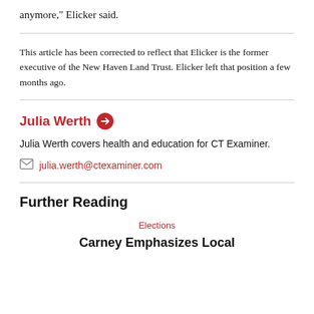anymore," Elicker said.
This article has been corrected to reflect that Elicker is the former executive of the New Haven Land Trust. Elicker left that position a few months ago.
Julia Werth
Julia Werth covers health and education for CT Examiner.
julia.werth@ctexaminer.com
Further Reading
Elections
Carney Emphasizes Local